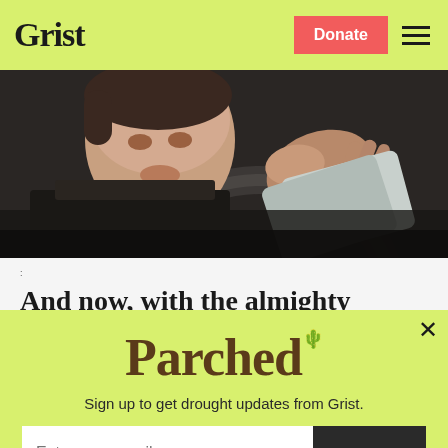Grist | Donate
[Figure (photo): Close-up of a person gripping a steering wheel, dark interior, person appears to be looking down]
:
And now, with the almighty power of the Internet of Things (aka the Techno Jelly
[Figure (infographic): Popup newsletter signup for 'Parched' - drought updates from Grist. Contains email input field with SIGN UP button and No thanks link.]